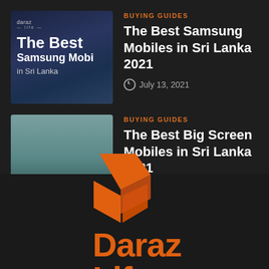[Figure (illustration): Daraz Life branded thumbnail with dark blue gradient background, showing text 'The Best Samsung Mobi in Sri Lanka']
BUYING GUIDES
The Best Samsung Mobiles in Sri Lanka 2021
July 13, 2021
[Figure (illustration): Thumbnail with teal/slate gradient background, partially visible product image]
BUYING GUIDES
The Best Big Screen Mobiles in Sri Lanka 2021
July 12, 2021
[Figure (logo): Daraz Life logo: orange geometric arrow/chevron icon with 'Daraz Life' text in orange]